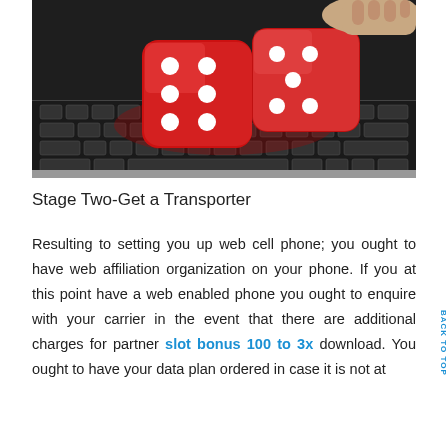[Figure (photo): Red translucent dice sitting on a laptop keyboard, with a person's hand visible in the background pressing keys. The dice show six dots on the visible face.]
Stage Two-Get a Transporter
Resulting to setting you up web cell phone; you ought to have web affiliation organization on your phone. If you at this point have a web enabled phone you ought to enquire with your carrier in the event that there are additional charges for partner slot bonus 100 to 3x download. You ought to have your data plan ordered in case it is not at